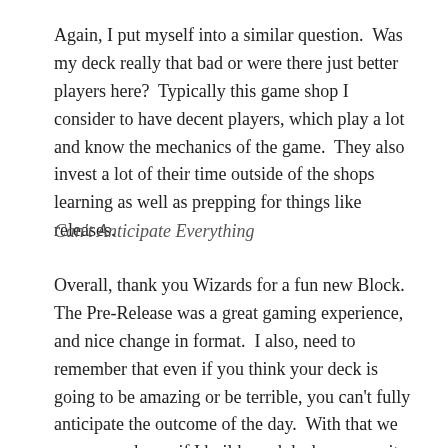Again, I put myself into a similar question.  Was my deck really that bad or were there just better players here?  Typically this game shop I consider to have decent players, which play a lot and know the mechanics of the game.  They also invest a lot of their time outside of the shops learning as well as prepping for things like releases.
Can't Anticipate Everything
Overall, thank you Wizards for a fun new Block.  The Pre-Release was a great gaming experience, and nice change in format.  I also, need to remember that even if you think your deck is going to be amazing or be terrible, you can't fully anticipate the outcome of the day.  With that we may never know if I build good decks, or was it the fact that everyone showed up with their “A” game.  Enjoy the new Battle for Zendikar block, and if you didn't catch the Pre-Release at least try and get out for the Release.  I believe you will get